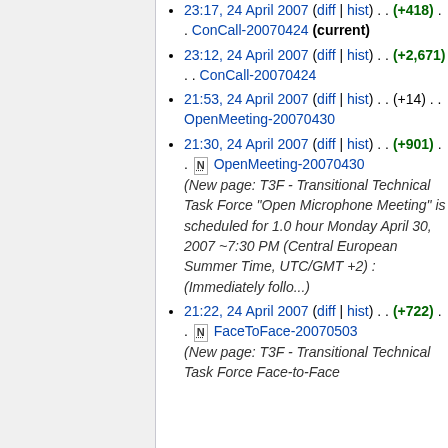23:17, 24 April 2007 (diff | hist) . . (+418) . . ConCall-20070424 (current)
23:12, 24 April 2007 (diff | hist) . . (+2,671) . . ConCall-20070424
21:53, 24 April 2007 (diff | hist) . . (+14) . . OpenMeeting-20070430
21:30, 24 April 2007 (diff | hist) . . (+901) . . N OpenMeeting-20070430 (New page: T3F - Transitional Technical Task Force "Open Microphone Meeting" is scheduled for 1.0 hour Monday April 30, 2007 ~7:30 PM (Central European Summer Time, UTC/GMT +2) : (Immediately follo...)
21:22, 24 April 2007 (diff | hist) . . (+722) . . N FaceToFace-20070503 (New page: T3F - Transitional Technical Task Force Face-to-Face Meeting is scheduled for 1.0 h...